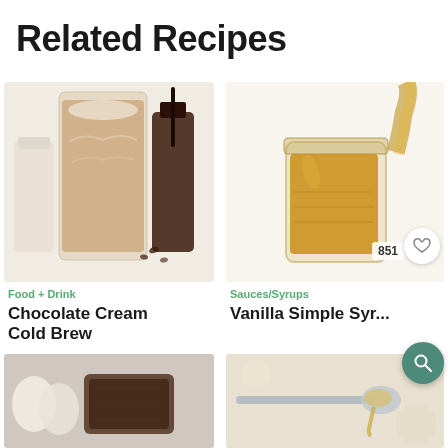Related Recipes
[Figure (photo): Iced chocolate cream cold brew coffee drink in a tall glass with a dark coffee bottle and milk jar in background]
Food + Drink
Chocolate Cream Cold Brew
[Figure (photo): Vanilla simple syrup being poured into a glass mason jar filled with golden amber syrup, with badge showing 851]
Sauces/Syrups
Vanilla Simple Syr...
[Figure (photo): Bottom left recipe image showing a dark baked good or chocolate item with eggs]
[Figure (photo): Bottom right recipe image showing a spoon with a honey or syrup substance]